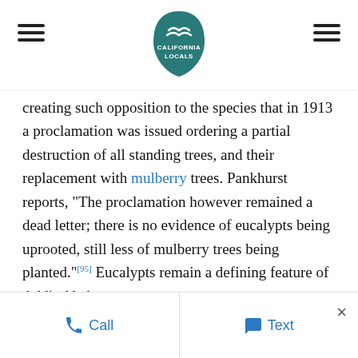California Locals logo with hamburger menus
creating such opposition to the species that in 1913 a proclamation was issued ordering a partial destruction of all standing trees, and their replacement with mulberry trees. Pankhurst reports, "The proclamation however remained a dead letter; there is no evidence of eucalypts being uprooted, still less of mulberry trees being planted."[95] Eucalypts remain a defining feature of Addis Ababa.
Madagascar
Much of Madagascar's original native forest has been replaced with Eucalyptus, threatening biodiversity by
Call   Text   ×